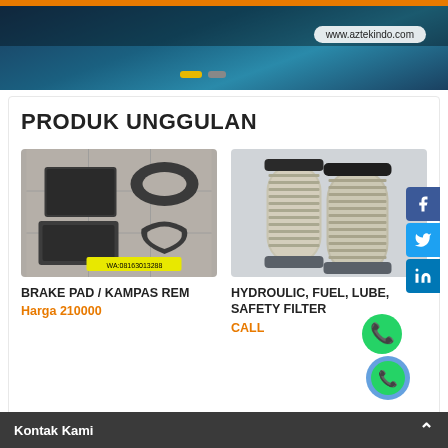www.aztekindo.com
PRODUK UNGGULAN
[Figure (photo): Brake pads / kampas rem — dark grey brake pad set arranged on a tiled surface with a yellow WhatsApp watermark overlay]
BRAKE PAD / KAMPAS REM
Harga 210000
[Figure (photo): Hydraulic, fuel, lube, safety cylindrical filter elements on grey background]
HYDROULIC, FUEL, LUBE, SAFETY FILTER
CALL
Kontak Kami